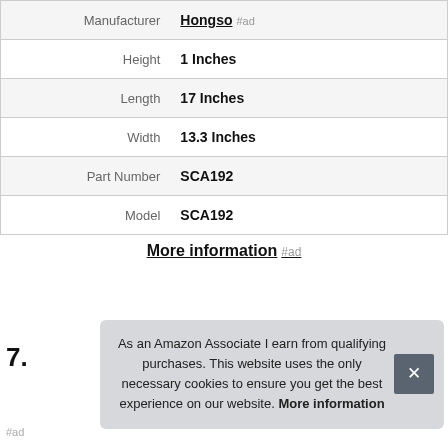| Attribute | Value |
| --- | --- |
| Manufacturer | Hongso #ad |
| Height | 1 Inches |
| Length | 17 Inches |
| Width | 13.3 Inches |
| Part Number | SCA192 |
| Model | SCA192 |
More information #ad
7.
As an Amazon Associate I earn from qualifying purchases. This website uses the only necessary cookies to ensure you get the best experience on our website. More information